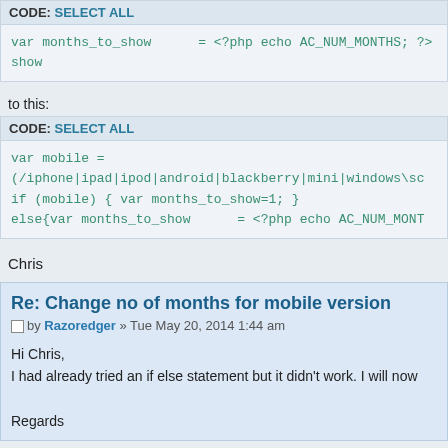CODE: SELECT ALL
var months_to_show      = <?php echo AC_NUM_MONTHS; ?>
show
to this:
CODE: SELECT ALL
var mobile =
(/iphone|ipad|ipod|android|blackberry|mini|windows\sc
if (mobile) { var months_to_show=1; }
else{var months_to_show      = <?php echo AC_NUM_MONT
Chris
Re: Change no of months for mobile version
by Razoredger » Tue May 20, 2014 1:44 am
Hi Chris,
I had already tried an if else statement but it didn't work. I will now

Regards